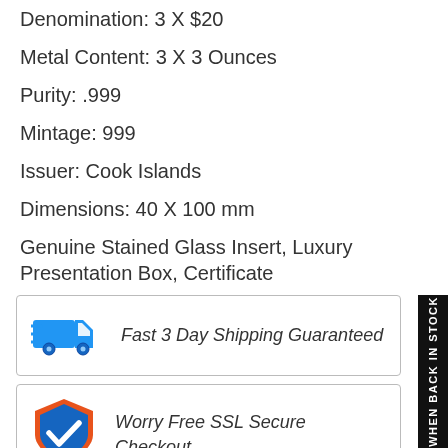Denomination: 3 X $20
Metal Content: 3 X 3 Ounces
Purity: .999
Mintage: 999
Issuer: Cook Islands
Dimensions: 40 X 100 mm
Genuine Stained Glass Insert, Luxury Presentation Box, Certificate
[Figure (infographic): Blue delivery truck icon with speed lines indicating fast shipping]
Fast 3 Day Shipping Guaranteed
[Figure (infographic): Blue shield with orange border and white checkmark indicating SSL secure checkout]
Worry Free SSL Secure Checkout
WHEN BACK IN STOCK